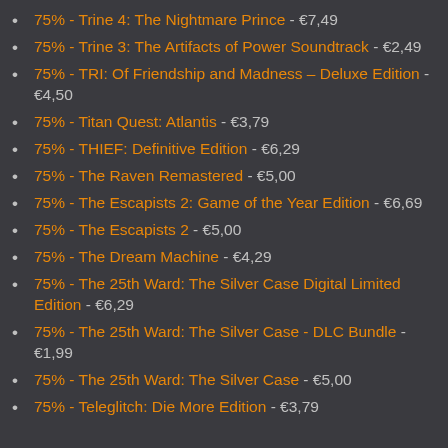75% - Trine 4: The Nightmare Prince - €7,49
75% - Trine 3: The Artifacts of Power Soundtrack - €2,49
75% - TRI: Of Friendship and Madness – Deluxe Edition - €4,50
75% - Titan Quest: Atlantis - €3,79
75% - THIEF: Definitive Edition - €6,29
75% - The Raven Remastered - €5,00
75% - The Escapists 2: Game of the Year Edition - €6,69
75% - The Escapists 2 - €5,00
75% - The Dream Machine - €4,29
75% - The 25th Ward: The Silver Case Digital Limited Edition - €6,29
75% - The 25th Ward: The Silver Case - DLC Bundle - €1,99
75% - The 25th Ward: The Silver Case - €5,00
75% - Teleglitch: Die More Edition - €3,79